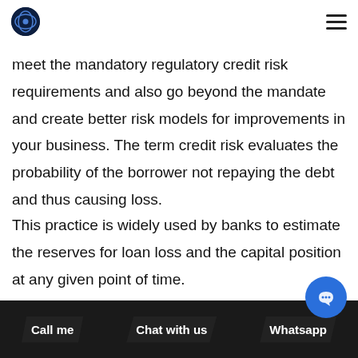meet the mandatory regulatory credit risk requirements and also go beyond the mandate and create better risk models for improvements in your business. The term credit risk evaluates the probability of the borrower not repaying the debt and thus causing loss.
This practice is widely used by banks to estimate the reserves for loan loss and the capital position at any given point of time. …ting loss…ing cred… practice is a major challenge in banks and
Call me   Chat with us   Whatsapp